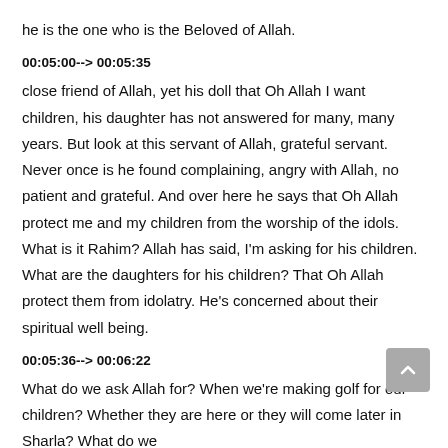he is the one who is the Beloved of Allah.
00:05:00--> 00:05:35
close friend of Allah, yet his doll that Oh Allah I want children, his daughter has not answered for many, many years. But look at this servant of Allah, grateful servant. Never once is he found complaining, angry with Allah, no patient and grateful. And over here he says that Oh Allah protect me and my children from the worship of the idols. What is it Rahim? Allah has said, I'm asking for his children. What are the daughters for his children? That Oh Allah protect them from idolatry. He's concerned about their spiritual well being.
00:05:36--> 00:06:22
What do we ask Allah for? When we're making golf for our children? Whether they are here or they will come later in Sharla? What do we